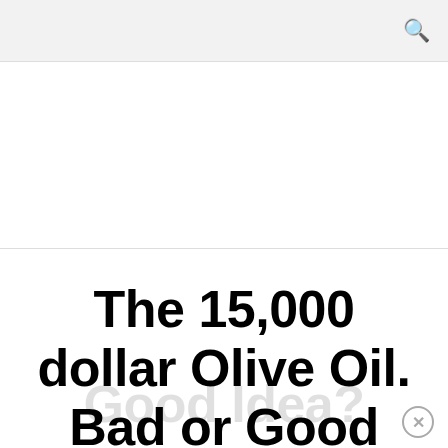The 15,000 dollar Olive Oil. Bad or Good Idea?